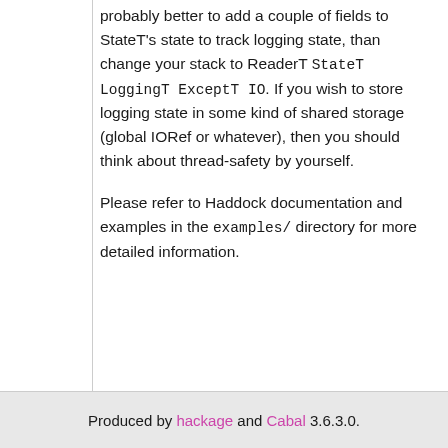probably better to add a couple of fields to StateT's state to track logging state, than change your stack to ReaderT StateT LoggingT ExceptT IO. If you wish to store logging state in some kind of shared storage (global IORef or whatever), then you should think about thread-safety by yourself.
Please refer to Haddock documentation and examples in the examples/ directory for more detailed information.
Produced by hackage and Cabal 3.6.3.0.